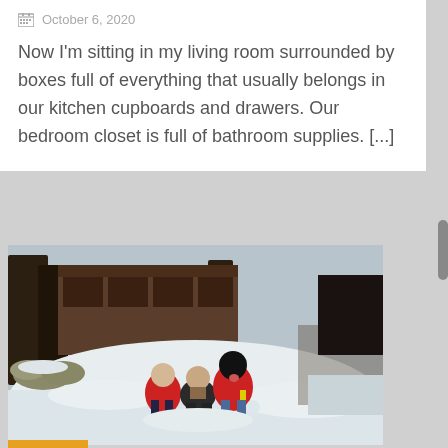October 6, 2020
Now I'm sitting in my living room surrounded by boxes full of everything that usually belongs in our kitchen cupboards and drawers. Our bedroom closet is full of bathroom supplies. [...]
[Figure (photo): A woman kneeling in the snow outdoors with two children wearing red winter jackets, in front of trees and a wooden building in a snowy setting.]